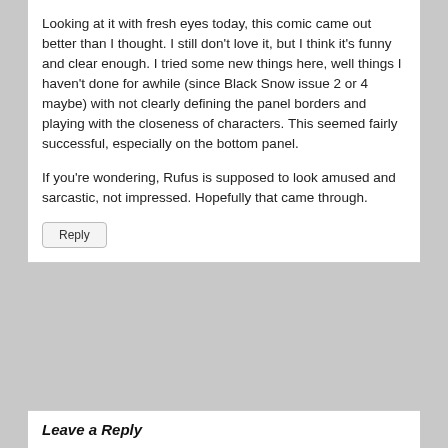Looking at it with fresh eyes today, this comic came out better than I thought. I still don't love it, but I think it's funny and clear enough. I tried some new things here, well things I haven't done for awhile (since Black Snow issue 2 or 4 maybe) with not clearly defining the panel borders and playing with the closeness of characters. This seemed fairly successful, especially on the bottom panel.
If you're wondering, Rufus is supposed to look amused and sarcastic, not impressed. Hopefully that came through.
Reply
Leave a Reply